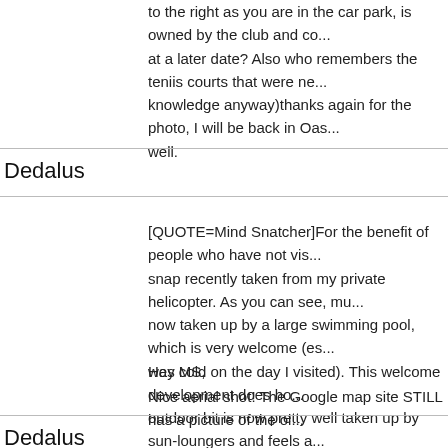to the right as you are in the car park, is owned by the club and co... at a later date? Also who remembers the teniis courts that were ne... knowledge anyway)thanks again for the photo, I will be back in Oas... well.
Dedalus
[QUOTE=Mind Snatcher]For the benefit of people who have not vis... snap recently taken from my private helicopter. As you can see, mu... now taken up by a large swimming pool, which is very welcome (es... was cold on the day I visited). This welcome development does ho... outdoor bit is now pretty well taken up by sun-loungers and feels a... comparison with what it was. [/QUOTE]
Hey MS,
Nice aerial shot! The Google map site STILL has a picture of the ol...
Cheers,
Dedalus
Dedalus